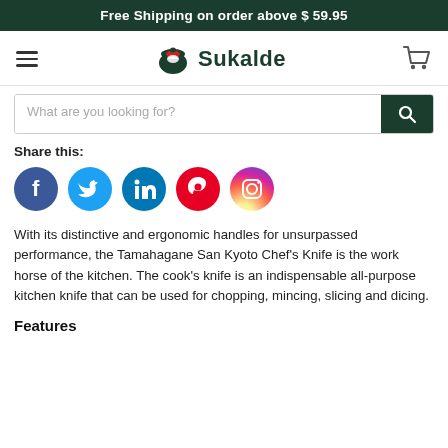Free Shipping on order above $ 59.95
[Figure (logo): Sukalde brand logo with green pot icon and text]
What are you looking for?
Share this:
[Figure (infographic): Social media icons: Facebook, Twitter, LinkedIn, Pinterest, Instagram]
With its distinctive and ergonomic handles for unsurpassed performance, the Tamahagane San Kyoto Chef’s Knife is the work horse of the kitchen. The cook’s knife is an indispensable all-purpose kitchen knife that can be used for chopping, mincing, slicing and dicing.
Features